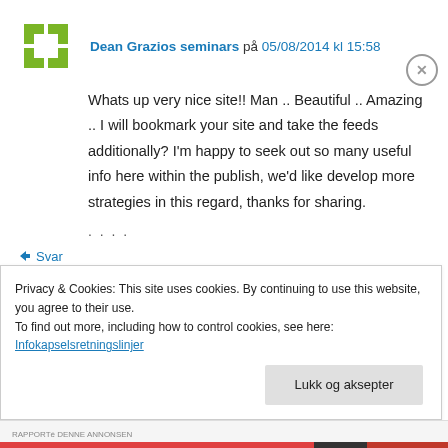[Figure (logo): Green pixelated cross/arrow logo]
Dean Grazios seminars på 05/08/2014 kl 15:58
Whats up very nice site!! Man .. Beautiful .. Amazing .. I will bookmark your site and take the feeds additionally? I'm happy to seek out so many useful info here within the publish, we'd like develop more strategies in this regard, thanks for sharing.
. . . .
Svar
Privacy & Cookies: This site uses cookies. By continuing to use this website, you agree to their use.
To find out more, including how to control cookies, see here:
Infokapselsretningslinjer
Lukk og aksepter